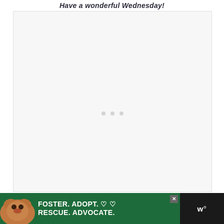Have a wonderful Wednesday!
[Figure (other): Large light gray empty content box with three small light gray dots centered in the middle, representing a loading or placeholder content area]
[Figure (other): Advertisement banner at the bottom: dark background with image of a brown dog on the left, green gradient background, bold white text reading 'FOSTER. ADOPT. RESCUE. ADVOCATE.' with heart outline icons, a close button (X), and a logo on the right showing 'W' with a superscript circle]